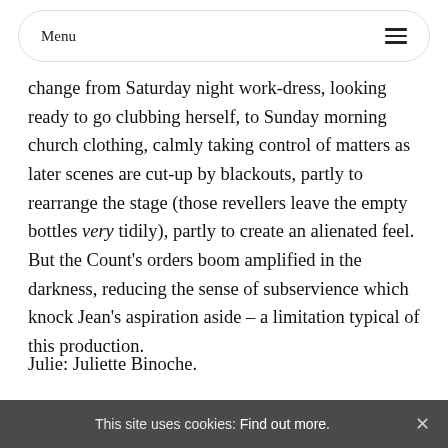Menu
change from Saturday night work-dress, looking ready to go clubbing herself, to Sunday morning church clothing, calmly taking control of matters as later scenes are cut-up by blackouts, partly to rearrange the stage (those revellers leave the empty bottles very tidily), partly to create an alienated feel. But the Count's orders boom amplified in the darkness, reducing the sense of subservience which knock Jean's aspiration aside – a limitation typical of this production.
Julie: Juliette Binoche.
Jean: Nicolas Bouchard
This site uses cookies: Find out more. ×